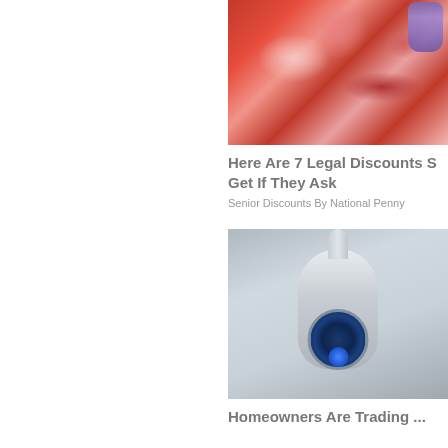[Figure (photo): Raw meat cuts with a purple-gloved hand visible in the upper right corner]
Here Are 7 Legal Discounts S... Get If They Ask
Senior Discounts By National Penny
[Figure (photo): White security camera with blue LED ring mounted on a wall]
Homeowners Are Trading ...